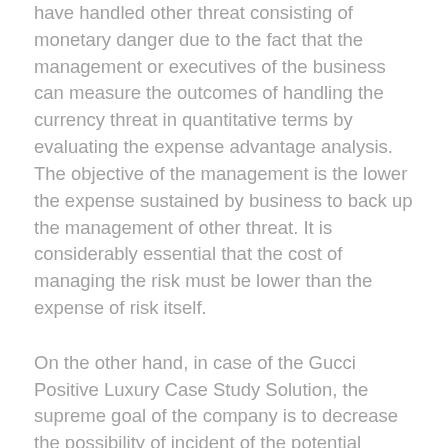have handled other threat consisting of monetary danger due to the fact that the management or executives of the business can measure the outcomes of handling the currency threat in quantitative terms by evaluating the expense advantage analysis. The objective of the management is the lower the expense sustained by business to back up the management of other threat. It is considerably essential that the cost of managing the risk must be lower than the expense of risk itself.
On the other hand, in case of the Gucci Positive Luxury Case Study Solution, the supreme goal of the company is to decrease the possibility of incident of the potential danger. If the business is not able to get away the event of the threat, it might take measures for the purpose of minimizing